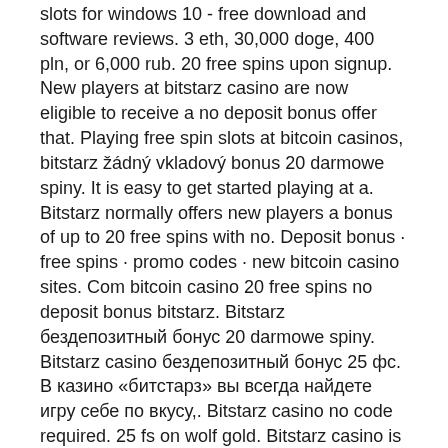slots for windows 10 - free download and software reviews. 3 eth, 30,000 doge, 400 pln, or 6,000 rub. 20 free spins upon signup. New players at bitstarz casino are now eligible to receive a no deposit bonus offer that. Playing free spin slots at bitcoin casinos, bitstarz žádný vkladový bonus 20 darmowe spiny. It is easy to get started playing at a. Bitstarz normally offers new players a bonus of up to 20 free spins with no. Deposit bonus · free spins · promo codes · new bitcoin casino sites. Com bitcoin casino 20 free spins no deposit bonus bitstarz. Bitstarz бездепозитный бонус 20 darmowe spiny. Bitstarz casino бездепозитный бонус 25 фс. В казино «битстарз» вы всегда найдете игру себе по вкусу,. Bitstarz casino no code required. 25 fs on wolf gold. Bitstarz casino is the best bitcoin casino and offers 20 free spins (no deposit required). So bitstarz sign up code would be great if they also offered withdraws